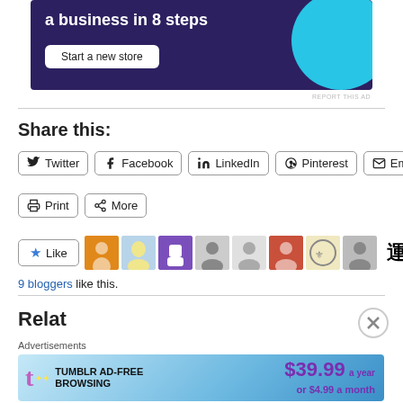[Figure (other): Advertisement banner showing 'a business in 8 steps' with a 'Start a new store' button on a dark purple background with blue circle graphic]
REPORT THIS AD
Share this:
Twitter
Facebook
LinkedIn
Pinterest
Email
Print
More
[Figure (other): Like button with star icon and 9 blogger avatars]
9 bloggers like this.
Related
[Figure (other): Tumblr Ad-Free Browsing advertisement banner showing $39.99 a year or $4.99 a month]
Advertisements